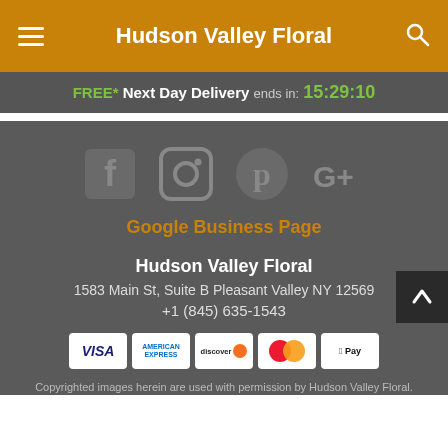Hudson Valley Floral
FREE* Next Day Delivery ends in: 15:29:10
[Figure (illustration): Social media icons: Facebook, Instagram, Pinterest, Google+]
Google Business Page
Hudson Valley Floral
1583 Main St, Suite B Pleasant Valley NY 12569
+1 (845) 635-1543
[Figure (other): Payment method logos: VISA, American Express, Discover, Mastercard, Apple Pay]
Copyrighted images herein are used with permission by Hudson Valley Floral.